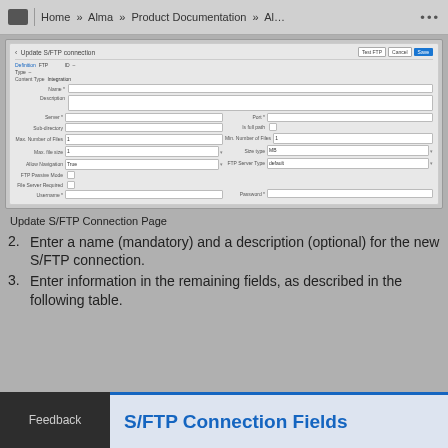Home » Alma » Product Documentation » Al…
[Figure (screenshot): Update S/FTP Connection form showing fields: Name, Description, Server, Sub-directory, Max. Number of Files, Max. File size, Allow Navigation (True), FTP Passive Mode checkbox, File Server Required checkbox, Username, Port, Is full path, Min. Number of Files, Size type (MB), FTP Server Type (default), Password. Buttons: Test FTP, Cancel, Save.]
Update S/FTP Connection Page
2. Enter a name (mandatory) and a description (optional) for the new S/FTP connection.
3. Enter information in the remaining fields, as described in the following table.
Feedback
S/FTP Connection Fields